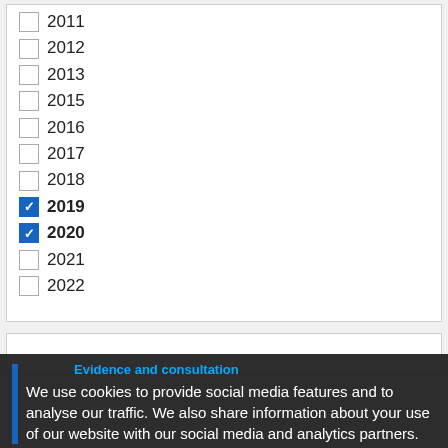2011 (unchecked)
2012 (unchecked)
2013 (unchecked)
2015 (unchecked)
2016 (unchecked)
2017 (unchecked)
2018 (unchecked)
2019 (checked)
2020 (checked)
2021 (unchecked)
2022 (unchecked)
Evidence and consultation
We use cookies to provide social media features and to analyse our traffic. We also share information about your use of our website with our social media and analytics partners.